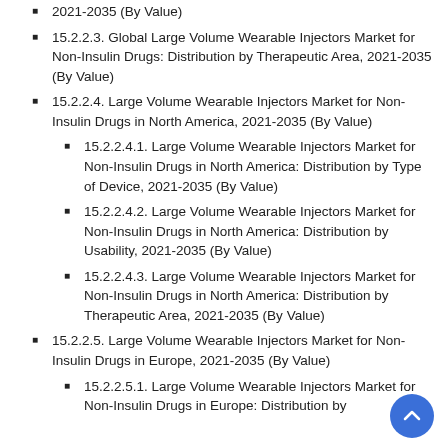2021-2035 (By Value)
15.2.2.3. Global Large Volume Wearable Injectors Market for Non-Insulin Drugs: Distribution by Therapeutic Area, 2021-2035 (By Value)
15.2.2.4. Large Volume Wearable Injectors Market for Non-Insulin Drugs in North America, 2021-2035 (By Value)
15.2.2.4.1. Large Volume Wearable Injectors Market for Non-Insulin Drugs in North America: Distribution by Type of Device, 2021-2035 (By Value)
15.2.2.4.2. Large Volume Wearable Injectors Market for Non-Insulin Drugs in North America: Distribution by Usability, 2021-2035 (By Value)
15.2.2.4.3. Large Volume Wearable Injectors Market for Non-Insulin Drugs in North America: Distribution by Therapeutic Area, 2021-2035 (By Value)
15.2.2.5. Large Volume Wearable Injectors Market for Non-Insulin Drugs in Europe, 2021-2035 (By Value)
15.2.2.5.1. Large Volume Wearable Injectors Market for Non-Insulin Drugs in Europe: Distribution by